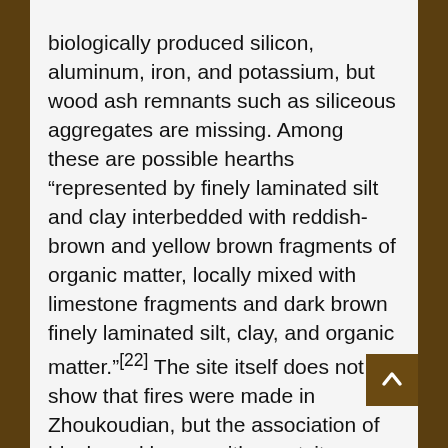Layer 10 itself is described as ash with biologically produced silicon, aluminum, iron, and potassium, but wood ash remnants such as siliceous aggregates are missing. Among these are possible hearths “represented by finely laminated silt and clay interbedded with reddish-brown and yellow brown fragments of organic matter, locally mixed with limestone fragments and dark brown finely laminated silt, clay, and organic matter.”[22] The site itself does not show that fires were made in Zhoukoudian, but the association of blackened bones with quartzite artifacts at least shows that humans did control fire at the time of the habitation of the Zhoukoudian cave. At the Amudian site of Qesem Cave, near the city of Kfar Qasim, evidence exists of the regular use of fire from before 382,000 BP to around 200,000 BP at the end of Lower Pleistocene.